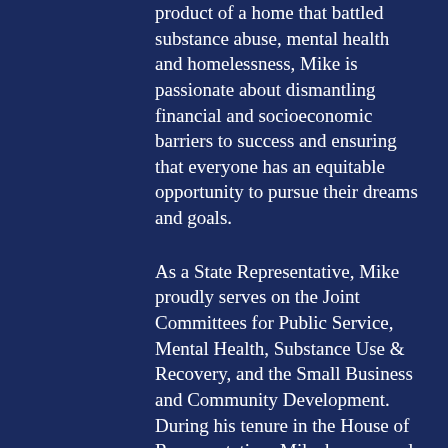product of a home that battled substance abuse, mental health and homelessness, Mike is passionate about dismantling financial and socioeconomic barriers to success and ensuring that everyone has an equitable opportunity to pursue their dreams and goals.
As a State Representative, Mike proudly serves on the Joint Committees for Public Service, Mental Health, Substance Use & Recovery, and the Small Business and Community Development. During his tenure in the House of Representatives Mike has secured critical district funding for the Fitchburg State University Theater Block Renovations, the Historic Crocker Field Restoration, the Fitchburg Police Department Dispatch Center, the